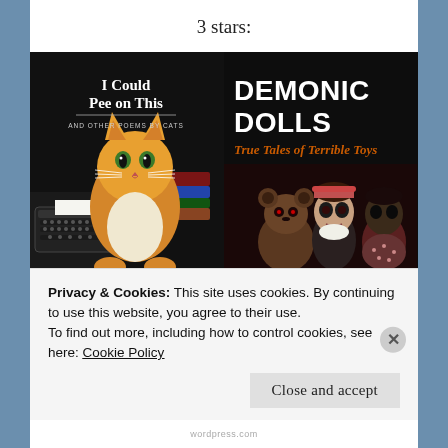3 stars:
[Figure (photo): Book cover: 'I Could Pee on This and Other Poems by Cats' showing an orange kitten with a typewriter]
[Figure (photo): Book cover: 'Demonic Dolls: True Tales of Terrible Toys' showing three creepy dolls and a stuffed bear on a dark background]
Privacy & Cookies: This site uses cookies. By continuing to use this website, you agree to their use.
To find out more, including how to control cookies, see here: Cookie Policy
Close and accept